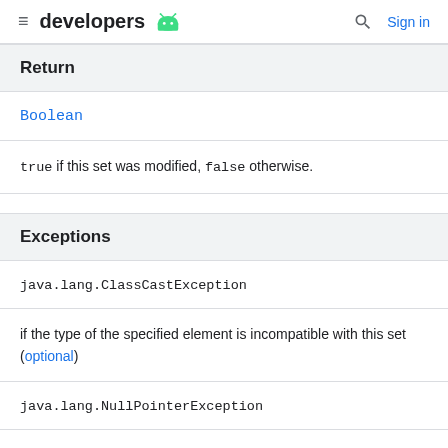developers [android logo] [search] Sign in
Return
Boolean
true if this set was modified, false otherwise.
Exceptions
java.lang.ClassCastException
if the type of the specified element is incompatible with this set (optional)
java.lang.NullPointerException